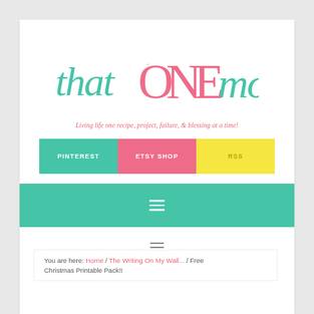[Figure (logo): thatONEmom blog logo with colorful lettering — 'that' and 'mom' in teal script, 'ONE' in large pink serif capitals]
Living life one recipe, project, failure, & blessing at a time!
PINTEREST
ETSY SHOP
RSS
[Figure (other): Teal navigation bar with hamburger menu icon]
[Figure (other): Secondary hamburger menu icon]
You are here: Home / The Writing On My Wall... / Free Christmas Printable Pack!!